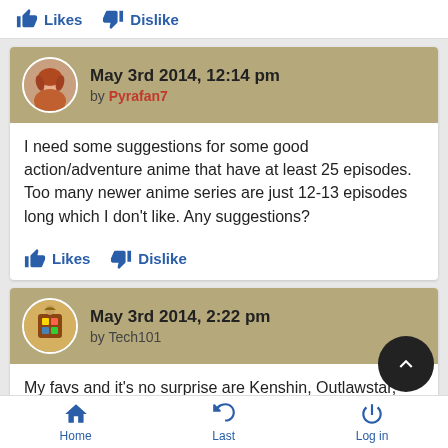Likes  Dislike
May 3rd 2014, 12:14 pm by Pyrafan7
I need some suggestions for some good action/adventure anime that have at least 25 episodes. Too many newer anime series are just 12-13 episodes long which I don't like. Any suggestions?
Likes  Dislike
May 3rd 2014, 2:22 pm by Tech101
My favs and it's no surprise are Kenshin, Outlawstar, Cowboy Bebop, and Trigun of course. If you haven't seen any of those then what wrong with you lol!
Home  Last  Log in